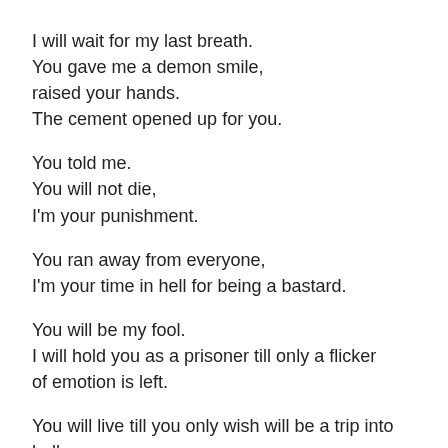I will wait for my last breath.
You gave me a demon smile,
raised your hands.
The cement opened up for you.
You told me.
You will not die,
I'm your punishment.
You ran away from everyone,
I'm your time in hell for being a bastard.
You will be my fool.
I will hold you as a prisoner till only a flicker
of emotion is left.
You will live till you only wish will be a trip into hell.